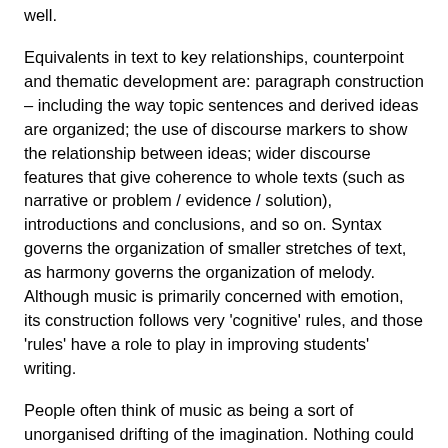well.
Equivalents in text to key relationships, counterpoint and thematic development are: paragraph construction – including the way topic sentences and derived ideas are organized; the use of discourse markers to show the relationship between ideas; wider discourse features that give coherence to whole texts (such as narrative or problem / evidence / solution), introductions and conclusions, and so on. Syntax governs the organization of smaller stretches of text, as harmony governs the organization of melody. Although music is primarily concerned with emotion, its construction follows very 'cognitive' rules, and those 'rules' have a role to play in improving students' writing.
People often think of music as being a sort of unorganised drifting of the imagination. Nothing could be further from the truth. Most classical music is constructed with the precision and skill of a Swiss watch-maker. Music's most important role for students needing to write clear and well-crafted English is simply to provide models of that precision and craftsmanship, which then influence the written